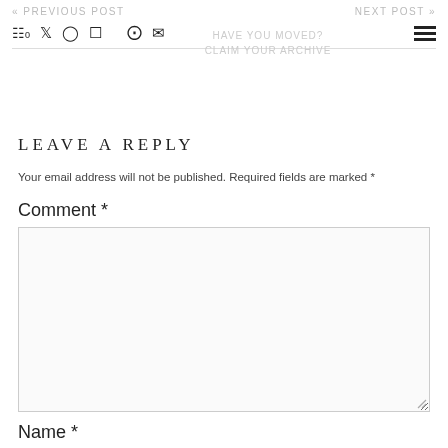« PREVIOUS POST   [navigation icons]   NEXT POST »
LEAVE A REPLY
Your email address will not be published. Required fields are marked *
Comment *
Name *